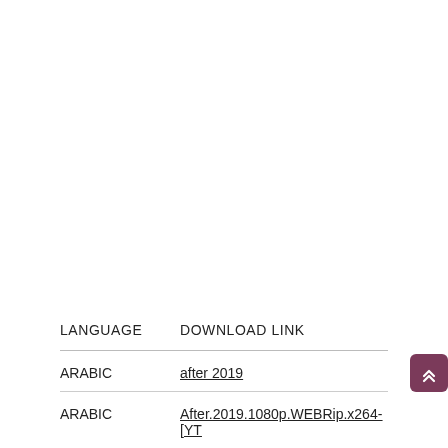| LANGUAGE | DOWNLOAD LINK |
| --- | --- |
| ARABIC | after 2019 |
| ARABIC | After.2019.1080p.WEBRip.x264-[YT |